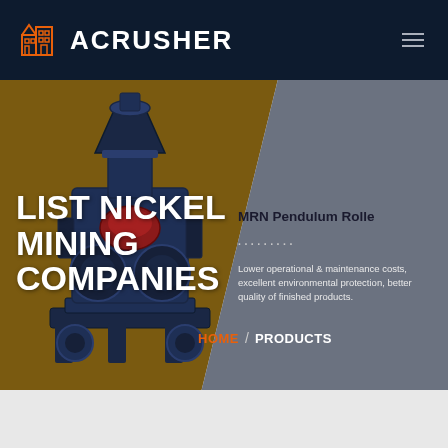[Figure (logo): ACRUSHER logo with orange building/factory icon and white bold text on dark navy background header bar]
LIST NICKEL MINING COMPANIES
[Figure (photo): Industrial pendulum roller mill machine, dark blue/gray color, shown on brown diagonal background]
MRN Pendulum Rolle
Lower operational & maintenance costs, excellent environmental protection, better quality of finished products.
HOME / PRODUCTS